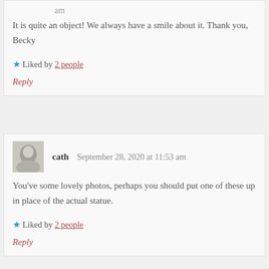It is quite an object! We always have a smile about it. Thank you, Becky
Liked by 2 people
Reply
cath  September 28, 2020 at 11:53 am
You've some lovely photos, perhaps you should put one of these up in place of the actual statue.
Liked by 2 people
Reply